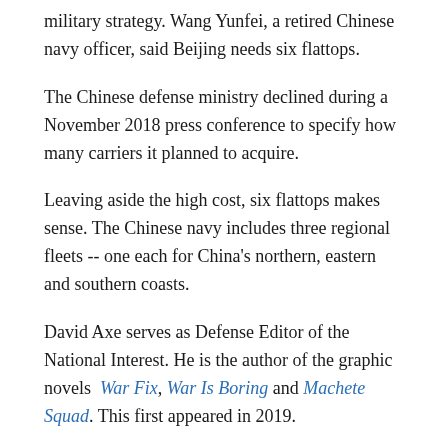military strategy. Wang Yunfei, a retired Chinese navy officer, said Beijing needs six flattops.
The Chinese defense ministry declined during a November 2018 press conference to specify how many carriers it planned to acquire.
Leaving aside the high cost, six flattops makes sense. The Chinese navy includes three regional fleets -- one each for China's northern, eastern and southern coasts.
David Axe serves as Defense Editor of the National Interest. He is the author of the graphic novels War Fix, War Is Boring and Machete Squad. This first appeared in 2019.